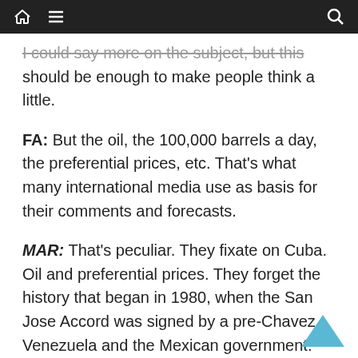[home icon] [menu icon] [search icon]
I could say more on the subject, but this should be enough to make people think a little.
FA: But the oil, the 100,000 barrels a day, the preferential prices, etc. That's what many international media use as basis for their comments and forecasts.
MAR: That's peculiar. They fixate on Cuba. Oil and preferential prices. They forget the history that began in 1980, when the San Jose Accord was signed by a pre-Chavez Venezuela and the Mexican government. Those two countries